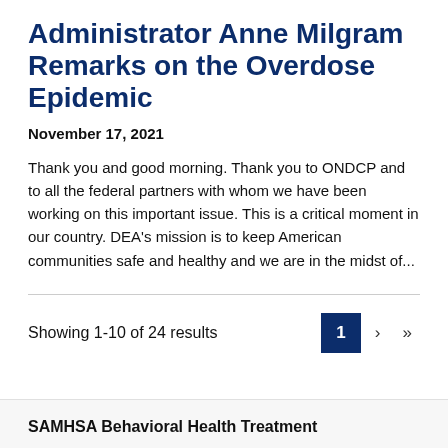Administrator Anne Milgram Remarks on the Overdose Epidemic
November 17, 2021
Thank you and good morning. Thank you to ONDCP and to all the federal partners with whom we have been working on this important issue. This is a critical moment in our country. DEA's mission is to keep American communities safe and healthy and we are in the midst of...
Showing 1-10 of 24 results
SAMHSA Behavioral Health Treatment